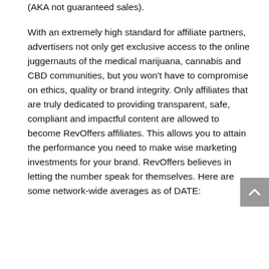(AKA not guaranteed sales).
With an extremely high standard for affiliate partners, advertisers not only get exclusive access to the online juggernauts of the medical marijuana, cannabis and CBD communities, but you won't have to compromise on ethics, quality or brand integrity. Only affiliates that are truly dedicated to providing transparent, safe, compliant and impactful content are allowed to become RevOffers affiliates. This allows you to attain the performance you need to make wise marketing investments for your brand. RevOffers believes in letting the number speak for themselves. Here are some network-wide averages as of DATE: